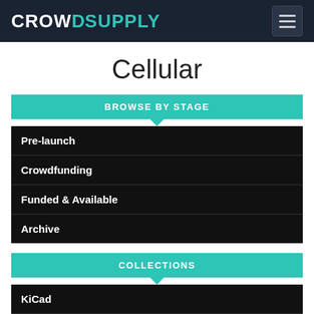CROWD SUPPLY
Cellular
BROWSE BY STAGE
Pre-launch
Crowdfunding
Funded & Available
Archive
COLLECTIONS
KiCad
RISC-V
Staff Picks
CONTROLLERS